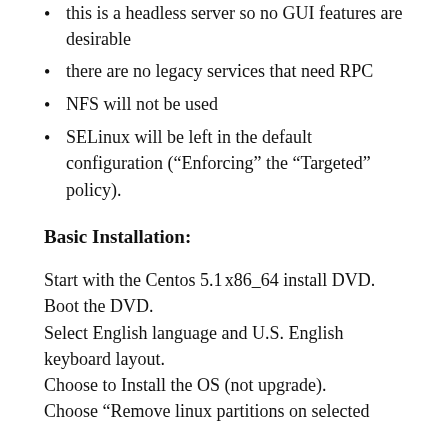this is a headless server so no GUI features are desirable
there are no legacy services that need RPC
NFS will not be used
SELinux will be left in the default configuration (“Enforcing” the “Targeted” policy).
Basic Installation:
Start with the Centos 5.1 x86_64 install DVD. Boot the DVD.
Select English language and U.S. English keyboard layout.
Choose to Install the OS (not upgrade).
Choose “Remove linux partitions on selected